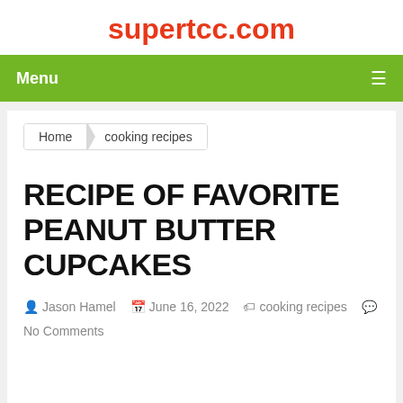supertcc.com
Menu
Home  cooking recipes
RECIPE OF FAVORITE PEANUT BUTTER CUPCAKES
Jason Hamel  June 16, 2022  cooking recipes  No Comments